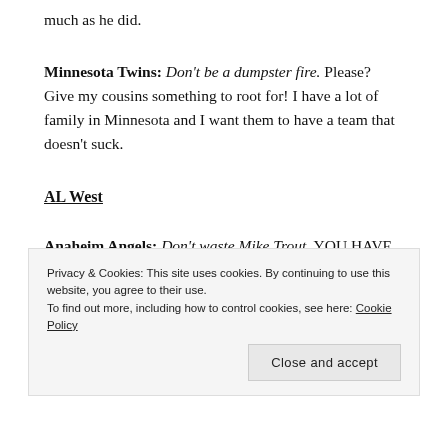much as he did.
Minnesota Twins: Don't be a dumpster fire. Please? Give my cousins something to root for! I have a lot of family in Minnesota and I want them to have a team that doesn't suck.
AL West
Anaheim Angels: Don't waste Mike Trout. YOU HAVE THE BEST PLAYER IN BASEBALL AND YOU HAVE SURROUNDED HIM WITH AN “OKAY ISH” TEAM. YOU
Privacy & Cookies: This site uses cookies. By continuing to use this website, you agree to their use.
To find out more, including how to control cookies, see here: Cookie Policy
Close and accept